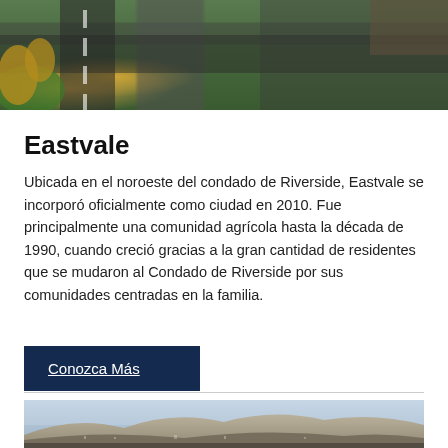[Figure (photo): Aerial view of Eastvale city streets and palm trees from above]
Eastvale
Ubicada en el noroeste del condado de Riverside, Eastvale se incorporó oficialmente como ciudad en 2010. Fue principalmente una comunidad agrícola hasta la década de 1990, cuando creció gracias a la gran cantidad de residentes que se mudaron al Condado de Riverside por sus comunidades centradas en la familia.
Conozca Más
[Figure (photo): Panoramic aerial view of Riverside county landscape with mountains and hazy sky]